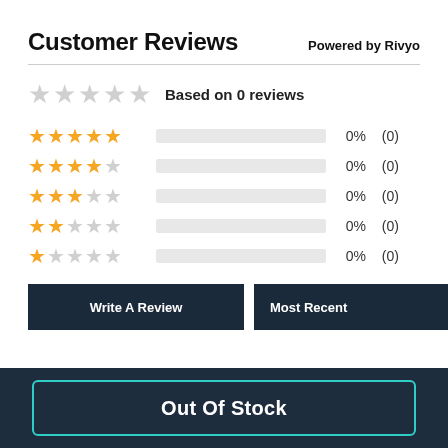Customer Reviews
Powered by Rivyo
Based on 0 reviews
5 stars: 0% (0)
4 stars: 0% (0)
3 stars: 0% (0)
2 stars: 0% (0)
1 star: 0% (0)
Write A Review
Most Recent
Out Of Stock